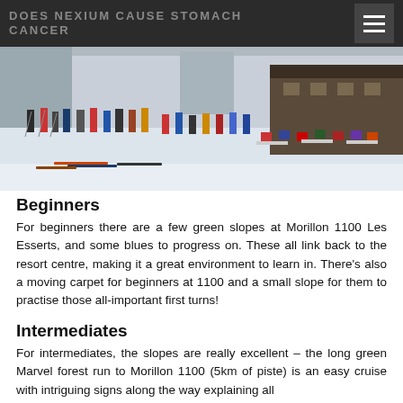DOES NEXIUM CAUSE STOMACH CANCER
[Figure (photo): Outdoor ski resort terrace scene with skiers and people sitting at tables in the snow, with ski lodge building in background]
Beginners
For beginners there are a few green slopes at Morillon 1100 Les Esserts, and some blues to progress on. These all link back to the resort centre, making it a great environment to learn in. There’s also a moving carpet for beginners at 1100 and a small slope for them to practise those all-important first turns!
Intermediates
For intermediates, the slopes are really excellent – the long green Marvel forest run to Morillon 1100 (5km of piste) is an easy cruise with intriguing signs along the way explaining all